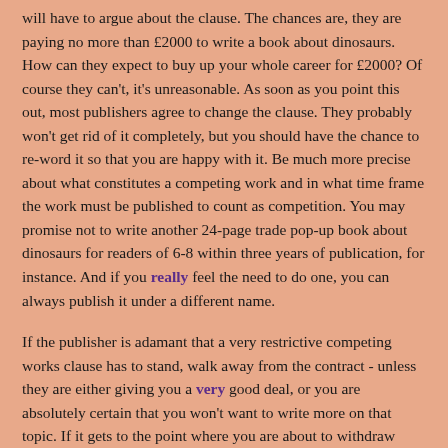will have to argue about the clause. The chances are, they are paying no more than £2000 to write a book about dinosaurs. How can they expect to buy up your whole career for £2000? Of course they can't, it's unreasonable. As soon as you point this out, most publishers agree to change the clause. They probably won't get rid of it completely, but you should have the chance to re-word it so that you are happy with it. Be much more precise about what constitutes a competing work and in what time frame the work must be published to count as competition. You may promise not to write another 24-page trade pop-up book about dinosaurs for readers of 6-8 within three years of publication, for instance. And if you really feel the need to do one, you can always publish it under a different name.
If the publisher is adamant that a very restrictive competing works clause has to stand, walk away from the contract - unless they are either giving you a very good deal, or you are absolutely certain that you won't want to write more on that topic. If it gets to the point where you are about to withdraw from the deal, they may well back down. But don't do it to call their bluff - if you have said you will pull out if they don't change the clause, you have to do so. Before you get to that point, though, you can point out that the